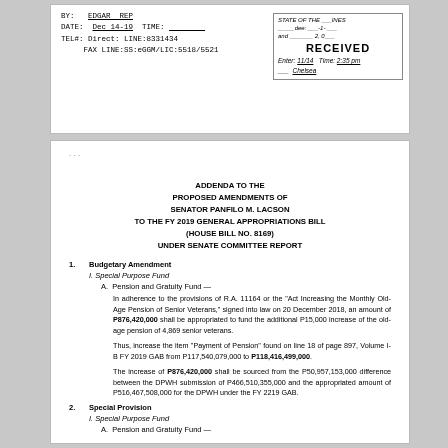BY: [signature] REP
DATE: Dec 14-19 TIME: ___
TEL#: Direct: LINE:8331434
FAX LINE:SS:eGGM/LIC:5518/5521
[Figure (other): Received stamp with date 11/14, time 2:35 pm, signed by Chelsea]
ADDENDA TO THE PROPOSED AMENDMENTS OF SENATOR PANFILO M. LACSON TO THE FY 2019 GENERAL APPROPRIATIONS BILL (HOUSE BILL NO. 8169) UNDER SENATE COMMITTEE REPORT
1. Budgetary Amendment
I. Special Purpose Fund
A. Pension and Gratuity Fund —
In adherence to the provisions of R.A. 11164 or the "Act Increasing the Monthly Old-Age Pension of Senior Veterans," signed into law on 20 December 2018, an amount of P876,420,000 shall be appropriated to fund the additional P15,000 increase of the old-age pension of 4,869 senior veterans.
Thus, increase the item "Payment of Pension" found on line 18 of page 897, Volume I-B FY 2019 GAB from P117,540,079,000 to P118,416,499,000.
The increase of P876,420,000 shall be sourced from the P50,957,153,000 difference between the DPWH submission of P466,510,355,000 and the appropriated amount of P516,467,508,000 for the DPWH under the FY 2219 GAB.
2. Special Provision
I. Special Purpose Fund
A. Pension and Gratuity Fund —